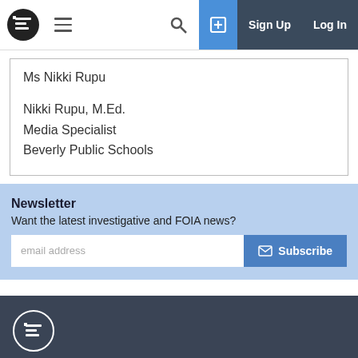MuckRock navigation bar with logo, menu, search, sign up and log in
Ms Nikki Rupu
Nikki Rupu, M.Ed.
Media Specialist
Beverly Public Schools
Newsletter
Want the latest investigative and FOIA news?
email address  Subscribe
MuckRock is a non-profit collaborative